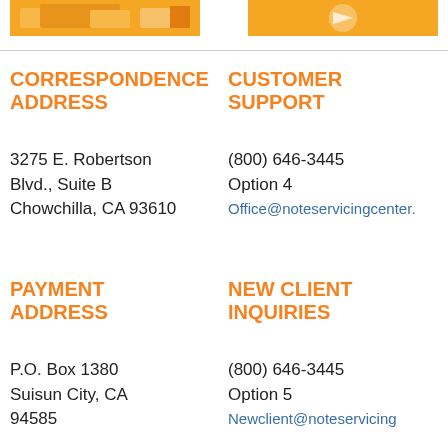[Figure (illustration): Orange banner image on the left, appears to show a building/street scene]
[Figure (illustration): Orange banner image on the right, appears to show a logo or icon]
CORRESPONDENCE ADDRESS
3275 E. Robertson Blvd., Suite B
Chowchilla, CA 93610
CUSTOMER SUPPORT
(800) 646-3445
Option 4
Office@noteservicingcenter.
PAYMENT ADDRESS
P.O. Box 1380
Suisun City, CA
94585
NEW CLIENT INQUIRIES
(800) 646-3445
Option 5
Newclient@noteservicing